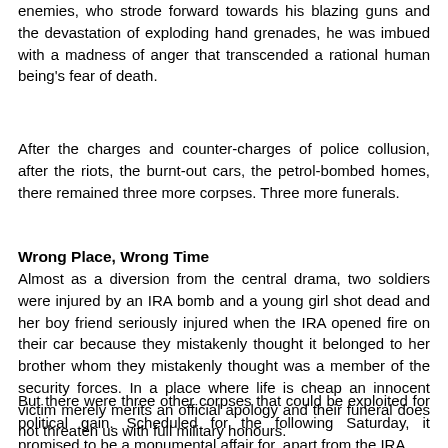enemies, who strode forward towards his blazing guns and the devastation of exploding hand grenades, he was imbued with a madness of anger that transcended a rational human being's fear of death.
After the charges and counter-charges of police collusion, after the riots, the burnt-out cars, the petrol-bombed homes, there remained three more corpses. Three more funerals.
Wrong Place, Wrong Time
Almost as a diversion from the central drama, two soldiers were injured by an IRA bomb and a young girl shot dead and her boy friend seriously injured when the IRA opened fire on their car because they mistakenly thought it belonged to her brother whom they mistakenly thought was a member of the security forces. In a place where life is cheap an innocent victim merely merits an official apology and their funeral does not threaten us with full military honours.
But there were three other corpses that could be exploited for political gain. Scheduled for the following Saturday, it promised to be a monumental affair for, apart from the IRA,